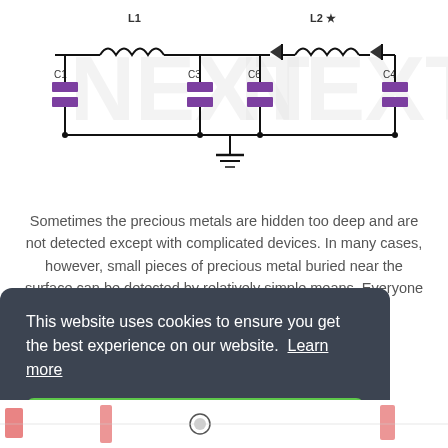[Figure (circuit-diagram): Electronic circuit schematic showing two LC filter sections. Left section has inductor L1 with capacitors C1 and C3. Right section has inductor L2 (with star symbol and diodes) with capacitors C6 and C4. Components connected by wires with a ground symbol at the bottom center.]
Sometimes the precious metals are hidden too deep and are not detected except with complicated devices. In many cases, however, small pieces of precious metal buried near the surface can be detected by relatively simple means. Everyone is very attractive to....
[Figure (screenshot): Cookie consent banner overlay on a website. Dark grey rounded rectangle with text: 'This website uses cookies to ensure you get the best experience on our website. Learn more' and a green 'Got it!' button. Partially visible circuit diagram thumbnails in background on the right side.]